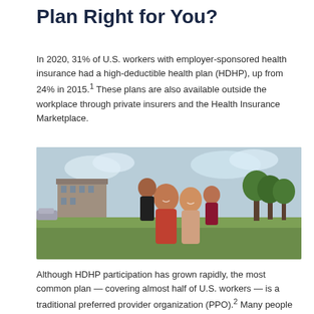Plan Right for You?
In 2020, 31% of U.S. workers with employer-sponsored health insurance had a high-deductible health plan (HDHP), up from 24% in 2015.¹ These plans are also available outside the workplace through private insurers and the Health Insurance Marketplace.
[Figure (photo): A smiling family of four outdoors — a man, a woman, and two young girls — posing together happily in a park-like setting with a building visible in the background.]
Although HDHP participation has grown rapidly, the most common plan — covering almost half of U.S. workers — is a traditional preferred provider organization (PPO).² Many people choose the...